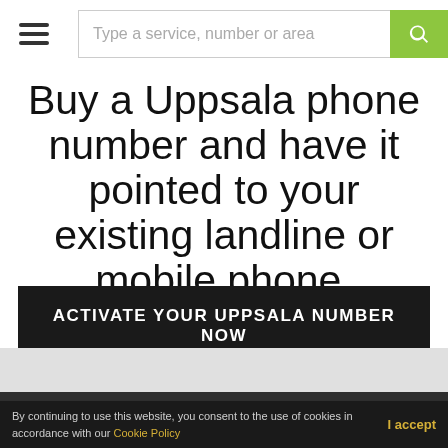Type a service, number or area
Buy a Uppsala phone number and have it pointed to your existing landline or mobile phone.
ACTIVATE YOUR UPPSALA NUMBER NOW
© 2022. All rights reserved. City Numbers Ltd. Terms & Conditions | Cookie Policy | Privacy Policy | Code of Conduct | Complaints Code | Blog | XML Sitemap
By continuing to use this website, you consent to the use of cookies in accordance with our Cookie Policy  I accept